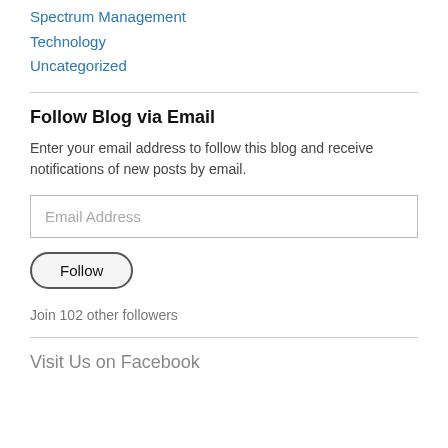Spectrum Management
Technology
Uncategorized
Follow Blog via Email
Enter your email address to follow this blog and receive notifications of new posts by email.
Email Address
Follow
Join 102 other followers
Visit Us on Facebook